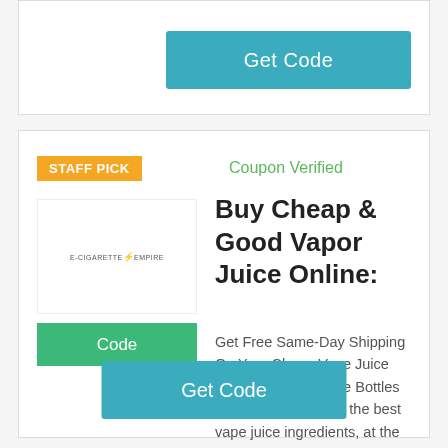[Figure (other): Top card with Get Code button]
Get Code
[Figure (other): Staff pick coupon card for e-cigarette empire with logo, Code button, offer title and description]
STAFF PICK
Coupon Verified
Buy Cheap & Good Vapor Juice Online:
Code
Get Free Same-Day Shipping On Your Cheap Vape Juice Here - 120ml E-Juice Bottles for $11.75, We have the best vape juice ingredients, at the absolute best ...
Get Code